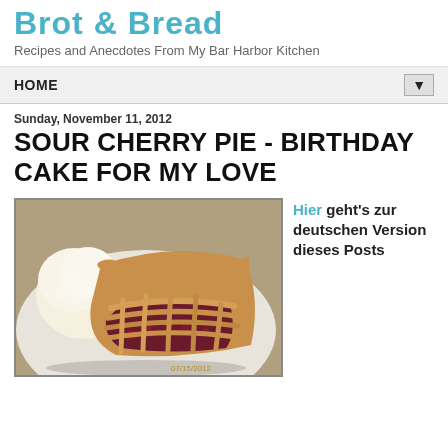Brot & Bread
Recipes and Anecdotes From My Bar Harbor Kitchen
HOME
Sunday, November 11, 2012
SOUR CHERRY PIE - BIRTHDAY CAKE FOR MY LOVE
[Figure (photo): A slice of sour cherry pie with a lattice crust, served with a scoop of vanilla ice cream on a white plate. Photo dated 07/15/2012.]
Hier geht's zur deutschen Version dieses Posts